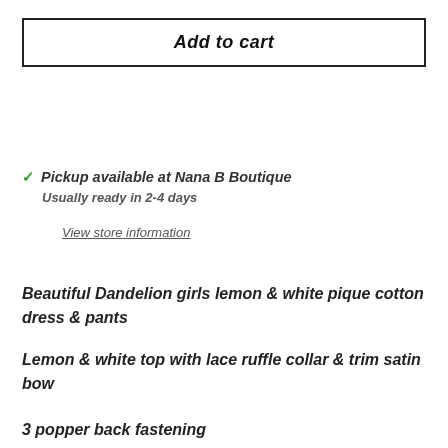Add to cart
✓ Pickup available at Nana B Boutique
Usually ready in 2-4 days
View store information
Beautiful Dandelion girls lemon & white pique cotton dress & pants
Lemon & white top with lace ruffle collar & trim satin bow
3 popper back fastening